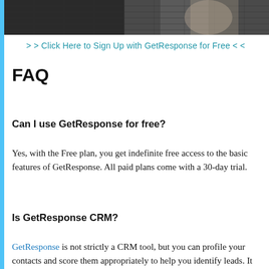[Figure (photo): Dark textured photo strip at the top of the page, showing a dark background with subtle pattern]
>> Click Here to Sign Up with GetResponse for Free <<
FAQ
Can I use GetResponse for free?
Yes, with the Free plan, you get indefinite free access to the basic features of GetResponse. All paid plans come with a 30-day trial.
Is GetResponse CRM?
GetResponse is not strictly a CRM tool, but you can profile your contacts and score them appropriately to help you identify leads. It does integrate with CRMs like Microsoft